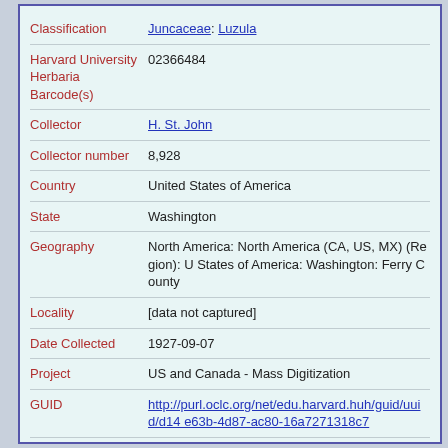| Field | Value |
| --- | --- |
| Classification | Juncaceae: Luzula |
| Harvard University Herbaria Barcode(s) | 02366484 |
| Collector | H. St. John |
| Collector number | 8,928 |
| Country | United States of America |
| State | Washington |
| Geography | North America: North America (CA, US, MX) (Region): United States of America: Washington: Ferry County |
| Locality | [data not captured] |
| Date Collected | 1927-09-07 |
| Project | US and Canada - Mass Digitization |
| GUID | http://purl.oclc.org/net/edu.harvard.huh/guid/uuid/d14e63b-4d87-ac80-16a7271318c7 |
| Harvard University Herbaria Barcode | 02366484 |